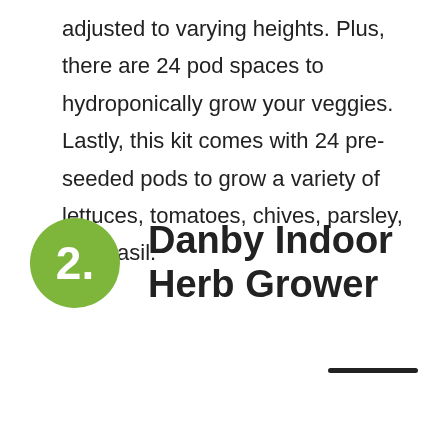adjusted to varying heights. Plus, there are 24 pod spaces to hydroponically grow your veggies. Lastly, this kit comes with 24 pre-seeded pods to grow a variety of lettuces, tomatoes, chives, parsley, and basil.
2. Danby Indoor Herb Grower
[Figure (other): A dark horizontal line/bar decorative element at bottom right of page]